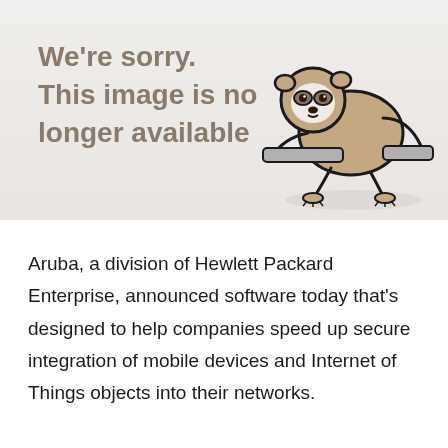[Figure (illustration): A cartoon sloth illustration hanging on a bar/branch, with brown fur and a white face, drawn in a simple comic style with a drop shadow.]
We're sorry. This image is no longer available
Aruba, a division of Hewlett Packard Enterprise, announced software today that's designed to help companies speed up secure integration of mobile devices and Internet of Things objects into their networks.